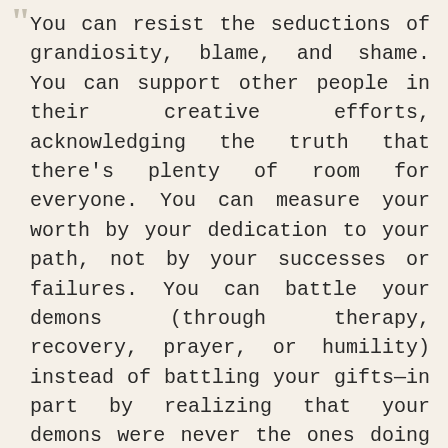You can resist the seductions of grandiosity, blame, and shame. You can support other people in their creative efforts, acknowledging the truth that there's plenty of room for everyone. You can measure your worth by your dedication to your path, not by your successes or failures. You can battle your demons (through therapy, recovery, prayer, or humility) instead of battling your gifts—in part by realizing that your demons were never the ones doing the work, anyhow. You can believe that you are neither a slave to inspiration nor its master, but something far more interesting—its partner—and